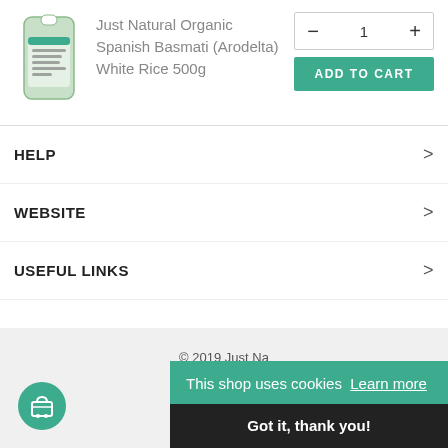[Figure (photo): Product image of Just Natural Organic Spanish Basmati rice bag]
Just Natural Organic Spanish Basmati (Arodelta) White Rice 500g
- 1 + ADD TO CART
HELP
WEBSITE
USEFUL LINKS
© 2019 Just Na...
This shop uses cookies Learn more
Got it, thank you!